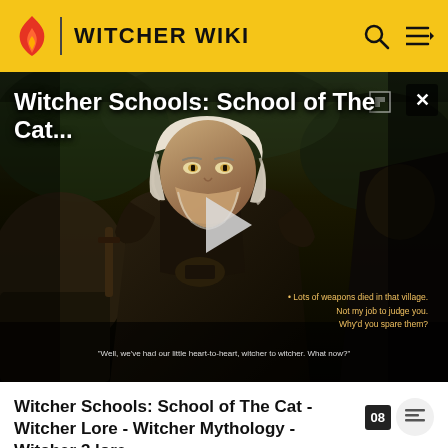WITCHER WIKI
[Figure (screenshot): Video thumbnail showing Geralt of Rivia character from The Witcher 3 game, dark atmospheric scene with play button overlay. Title overlay reads 'Witcher Schools: School of The Cat...' with subtitle text fragments visible at bottom.]
Witcher Schools: School of The Cat - Witcher Lore - Witcher Mythology - Witcher 3 lore
The School's success was only temporary. The efforts at creating improved, completely emotionless witchers